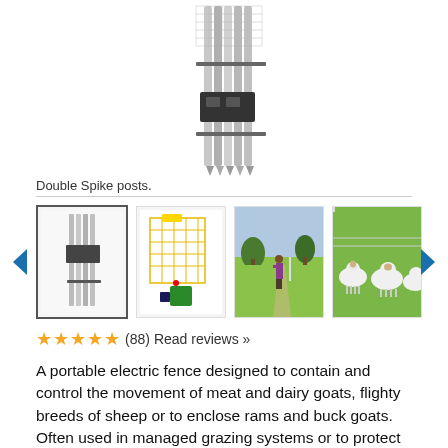[Figure (photo): Electric fence post bundle product image showing Double Spike posts stacked together]
Double Spike posts.
[Figure (photo): Four product thumbnail images: (1) selected - fence post bundle, (2) yellow electric fence unit on green background, (3) person installing fence in field, (4) sheep near electric fence]
★★★★★ (88) Read reviews »
A portable electric fence designed to contain and control the movement of meat and dairy goats, flighty breeds of sheep or to enclose rams and buck goats. Often used in managed grazing systems or to protect beehives from livestock and boars.